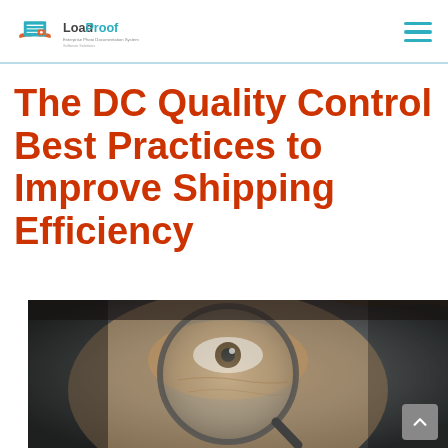LoadProof - Enterprise Photo Documentation System
The DC Quality Control Best Practices to Improve Shipping Efficiency
[Figure (photo): Close-up photo of a person's eye looking through a magnifying glass lens, with a dark moody background]